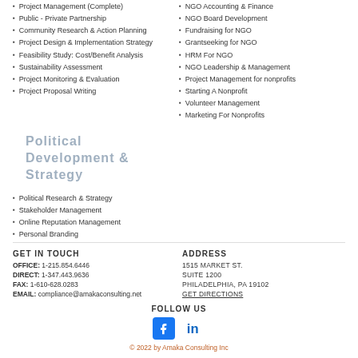Project Management (Complete)
NGO Accounting & Finance
Public - Private Partnership
NGO Board Development
Community Research & Action Planning
Fundraising for NGO
Project Design & Implementation Strategy
Grantseeking for NGO
Feasibility Study: Cost/Benefit Analysis
HRM For NGO
Sustainability Assessment
NGO Leadership & Management
Project Monitoring & Evaluation
Project Management for nonprofits
Project Proposal Writing
Starting A Nonprofit
Volunteer Management
Marketing For Nonprofits
Political Development & Strategy
Political Research & Strategy
Stakeholder Management
Online Reputation Management
Personal Branding
GET IN TOUCH
OFFICE: 1-215.854.6446
DIRECT: 1-347.443.9636
FAX: 1-610-628.0283
EMAIL: compliance@amakaconsulting.net
ADDRESS
1515 MARKET ST.
SUITE 1200
PHILADELPHIA, PA 19102
GET DIRECTIONS
FOLLOW US
[Figure (logo): Facebook and LinkedIn social media icons]
© 2022 by Amaka Consulting Inc